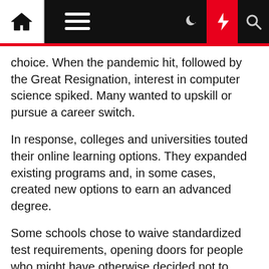[Navigation bar with home, menu, moon, bolt, search icons]
choice. When the pandemic hit, followed by the Great Resignation, interest in computer science spiked. Many wanted to upskill or pursue a career switch.
In response, colleges and universities touted their online learning options. They expanded existing programs and, in some cases, created new options to earn an advanced degree.
Some schools chose to waive standardized test requirements, opening doors for people who might have otherwise decided not to continue their education.
Online graduate CS programs are a “compelling new option”